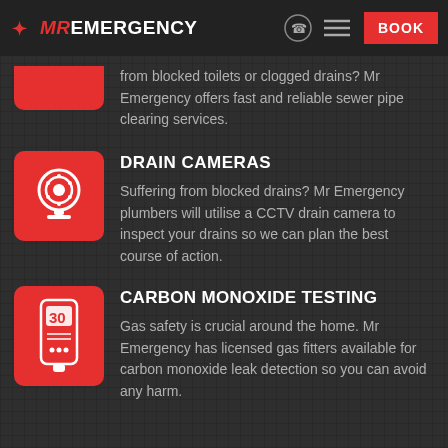MR EMERGENCY | BOOK
from blocked toilets or clogged drains? Mr Emergency offers fast and reliable sewer pipe clearing services.
DRAIN CAMERAS
Suffering from blocked drains? Mr Emergency plumbers will utilise a CCTV drain camera to inspect your drains so we can plan the best course of action.
CARBON MONOXIDE TESTING
Gas safety is crucial around the home. Mr Emergency has licensed gas fitters available for carbon monoxide leak detection so you can avoid any harm.